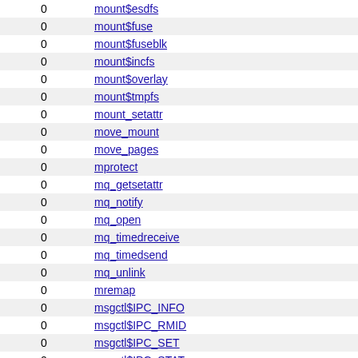|  |  |
| --- | --- |
| 0 | mount$esdfs |
| 0 | mount$fuse |
| 0 | mount$fuseblk |
| 0 | mount$incfs |
| 0 | mount$overlay |
| 0 | mount$tmpfs |
| 0 | mount_setattr |
| 0 | move_mount |
| 0 | move_pages |
| 0 | mprotect |
| 0 | mq_getsetattr |
| 0 | mq_notify |
| 0 | mq_open |
| 0 | mq_timedreceive |
| 0 | mq_timedsend |
| 0 | mq_unlink |
| 0 | mremap |
| 0 | msgctl$IPC_INFO |
| 0 | msgctl$IPC_RMID |
| 0 | msgctl$IPC_SET |
| 0 | msgctl$IPC_STAT |